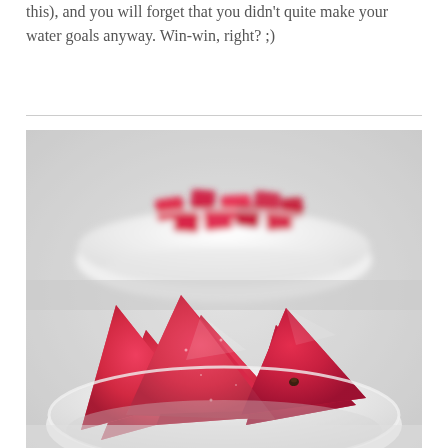this), and you will forget that you didn't quite make your water goals anyway. Win-win, right? ;)
[Figure (photo): Two white bowls filled with cut watermelon pieces. The background bowl in the upper portion shows small cubed watermelon chunks, slightly out of focus. The foreground bowl contains large triangular watermelon slices with a visible black seed, set against a light grey surface.]